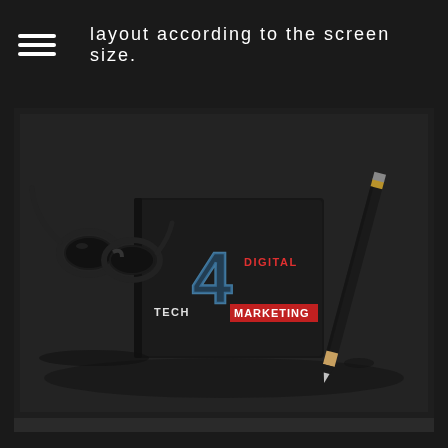layout according to the screen size.
[Figure (photo): Dark-themed product photo showing a black notebook with the 'Tech 4 Digital Marketing' logo, a pair of black eyeglasses to the left, and a pencil to the right, all on a dark surface.]